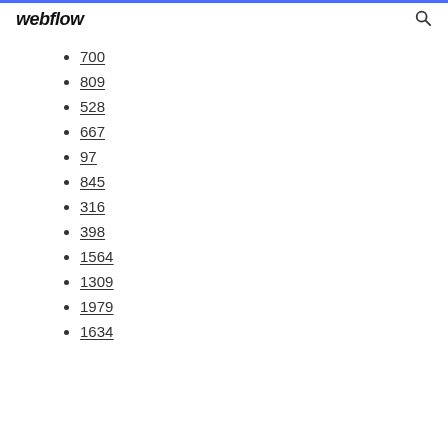webflow
700
809
528
667
97
845
316
398
1564
1309
1979
1634